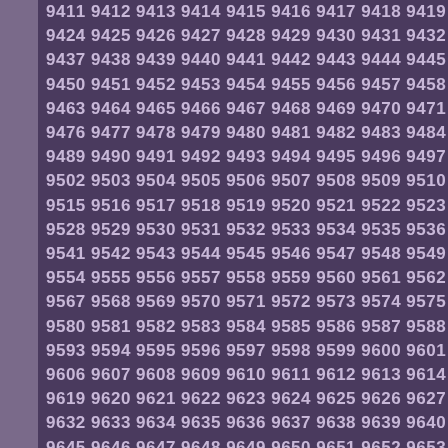9411 9412 9413 9414 9415 9416 9417 9418 9419 9420 9421 9422 9423 9424 9425 9426 9427 9428 9429 9430 9431 9432 9433 9434 9435 9436 9437 9438 9439 9440 9441 9442 9443 9444 9445 9446 9447 9448 9449 9450 9451 9452 9453 9454 9455 9456 9457 9458 9459 9460 9461 9462 9463 9464 9465 9466 9467 9468 9469 9470 9471 9472 9473 9474 9475 9476 9477 9478 9479 9480 9481 9482 9483 9484 9485 9486 9487 9488 9489 9490 9491 9492 9493 9494 9495 9496 9497 9498 9499 9500 9501 9502 9503 9504 9505 9506 9507 9508 9509 9510 9511 9512 9513 9514 9515 9516 9517 9518 9519 9520 9521 9522 9523 9524 9525 9526 9527 9528 9529 9530 9531 9532 9533 9534 9535 9536 9537 9538 9539 9540 9541 9542 9543 9544 9545 9546 9547 9548 9549 9550 9551 9552 9553 9554 9555 9556 9557 9558 9559 9560 9561 9562 9563 9564 9565 9566 9567 9568 9569 9570 9571 9572 9573 9574 9575 9576 9577 9578 9579 9580 9581 9582 9583 9584 9585 9586 9587 9588 9589 9590 9591 9592 9593 9594 9595 9596 9597 9598 9599 9600 9601 9602 9603 9604 9605 9606 9607 9608 9609 9610 9611 9612 9613 9614 9615 9616 9617 9618 9619 9620 9621 9622 9623 9624 9625 9626 9627 9628 9629 9630 9631 9632 9633 9634 9635 9636 9637 9638 9639 9640 9641 9642 9643 9644 9645 9646 9647 9648 9649 9650 9651 9652 9653 9654 9655 9656 9657